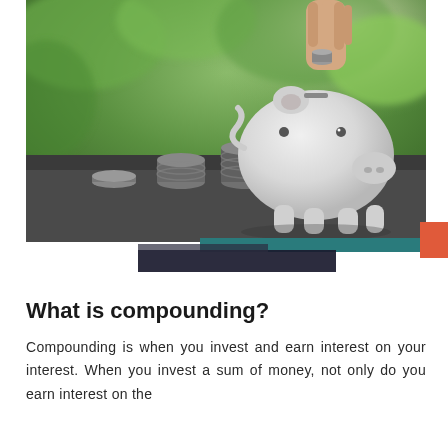[Figure (photo): A hand inserting a coin into a white ceramic piggy bank, with four stacks of coins of increasing height arranged in front of it on a dark surface, with green foliage in the blurred background.]
What is compounding?
Compounding is when you invest and earn interest on your interest. When you invest a sum of money, not only do you earn interest on the